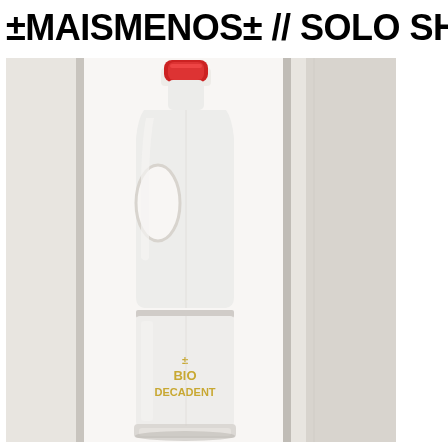±MAISMENOS± // SOLO SHOW, 2013
[Figure (photo): A white plastic bottle/jug with a red cap, displayed upright in a narrow white alcove or niche. The bottle has gold text on its lower half reading '± BIO DECADENT'. The bottle resembles a large cleaning or milk container with a handle cutout on the upper portion.]